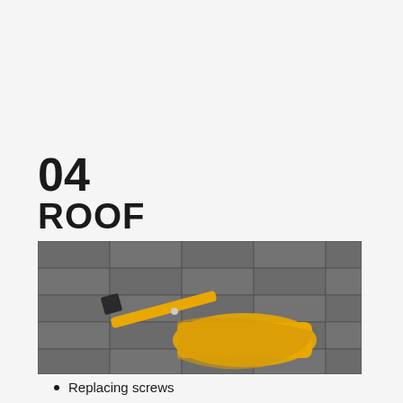04
ROOF MAINTENANCE
[Figure (photo): A person wearing yellow work gloves using a tool (appears to be a hammer or screwdriver) on a rooftop with shingles visible in the background.]
Replacing screws
Replacing rusted Roofing sheets
Broken tiles
Broken gutters
Storm damage
Faded Roofing Iron